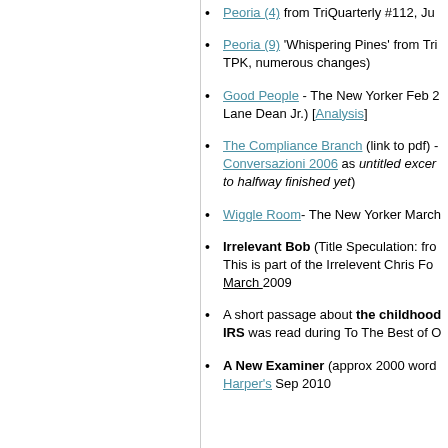Peoria (4) from TriQuarterly #112, Ju…
Peoria (9) 'Whispering Pines' from Tri… TPK, numerous changes)
Good People - The New Yorker Feb 2… Lane Dean Jr.) [Analysis]
The Compliance Branch (link to pdf) - Conversazioni 2006 as untitled excer… to halfway finished yet)
Wiggle Room- The New Yorker March…
Irrelevant Bob (Title Speculation: fro… This is part of the Irrelevent Chris Fo… March 2009
A short passage about the childhood… IRS was read during To The Best of O…
A New Examiner (approx 2000 word… Harper's Sep 2010